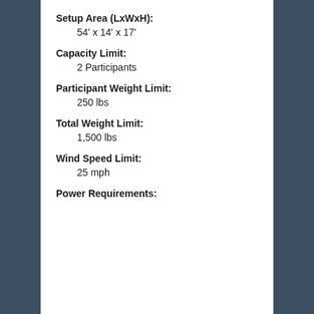Setup Area (LxWxH):
54' x 14' x 17'
Capacity Limit:
2 Participants
Participant Weight Limit:
250 lbs
Total Weight Limit:
1,500 lbs
Wind Speed Limit:
25 mph
Power Requirements: